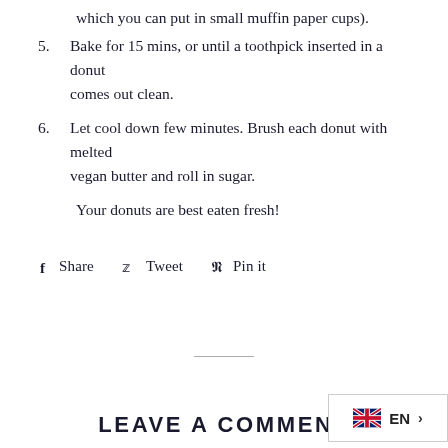which you can put in small muffin paper cups).
5. Bake for 15 mins, or until a toothpick inserted in a donut comes out clean.
6. Let cool down few minutes. Brush each donut with melted vegan butter and roll in sugar.
Your donuts are best eaten fresh!
Share  Tweet  Pin it
LEAVE A COMMENT